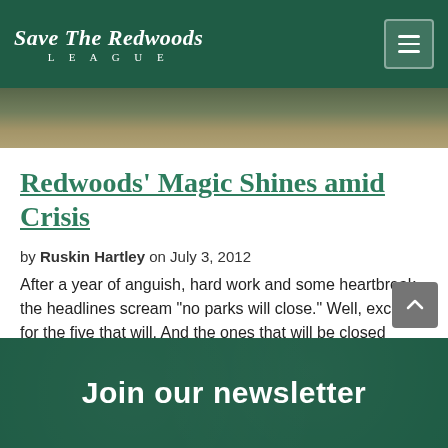Save The Redwoods LEAGUE
[Figure (photo): Partial view of people outdoors, photo strip at top of article]
Redwoods' Magic Shines amid Crisis
by Ruskin Hartley on July 3, 2012
After a year of anguish, hard work and some heartbreak, the headlines scream “no parks will close.” Well, except for the five that will. And the ones that will be closed during the week, or off-season. And some have no …
Join our newsletter